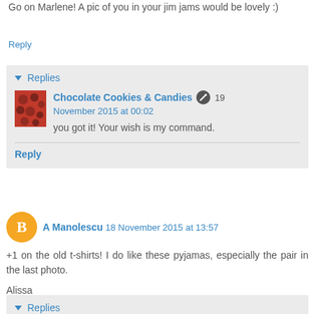Go on Marlene! A pic of you in your jim jams would be lovely :)
Reply
▾ Replies
Chocolate Cookies & Candies  🔧  19 November 2015 at 00:02
you got it! Your wish is my command.
Reply
A Manolescu  18 November 2015 at 13:57
+1 on the old t-shirts! I do like these pyjamas, especially the pair in the last photo.

Alissa
Reply
▾ Replies